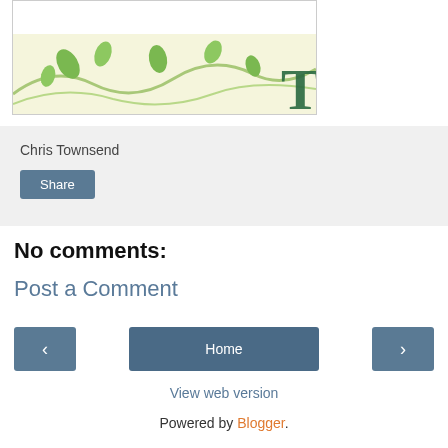[Figure (illustration): Partial blog header image showing decorative green leaves and vine design on a cream/light yellow background, with partial dark green letter 'T' visible at right edge. Image is clipped inside a bordered box.]
Chris Townsend
Share
No comments:
Post a Comment
<
Home
>
View web version
Powered by Blogger.